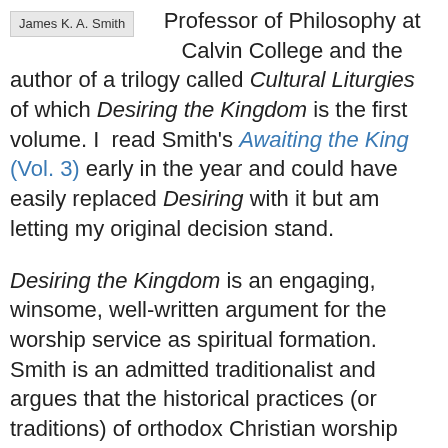[Figure (other): Author photo label showing 'James K. A. Smith' in a grey box]
Professor of Philosophy at Calvin College and the author of a trilogy called Cultural Liturgies of which Desiring the Kingdom is the first volume. I read Smith's Awaiting the King (Vol. 3) early in the year and could have easily replaced Desiring with it but am letting my original decision stand.
Desiring the Kingdom is an engaging, winsome, well-written argument for the worship service as spiritual formation. Smith is an admitted traditionalist and argues that the historical practices (or traditions) of orthodox Christian worship (e.g., call to worship, creedal recitation, confession of sin) are the very things that can